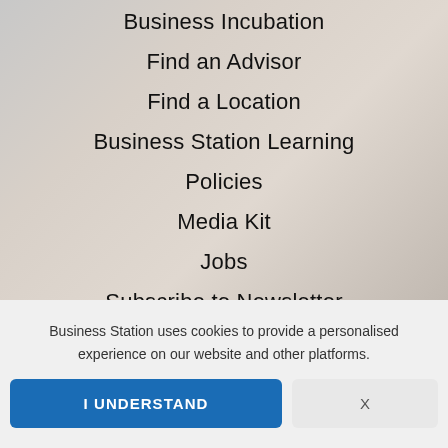Business Incubation
Find an Advisor
Find a Location
Business Station Learning
Policies
Media Kit
Jobs
Subscribe to Newsletter
Business Station uses cookies to provide a personalised experience on our website and other platforms.
I UNDERSTAND
X